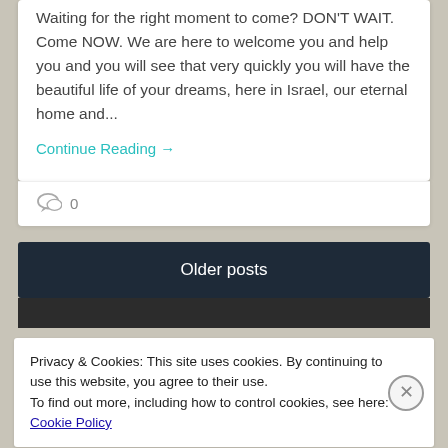Waiting for the right moment to come? DON'T WAIT. Come NOW. We are here to welcome you and help you and you will see that very quickly you will have the beautiful life of your dreams, here in Israel, our eternal home and...
Continue Reading →
0
Older posts
Privacy & Cookies: This site uses cookies. By continuing to use this website, you agree to their use.
To find out more, including how to control cookies, see here: Cookie Policy
Close and accept